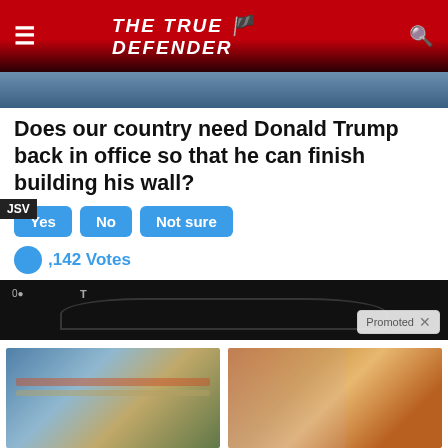THE TRUE DEFENDER
[Figure (screenshot): Partial hero image showing a dark background scene]
Does our country need Donald Trump back in office so that he can finish building his wall?
Yes  No  Not sure
1,142 Votes
[Figure (screenshot): Dark video player thumbnail with Promoted label]
[Figure (photo): Cruise ship aerial photo]
Cruise Ship Reality – Actual Pictures Will Make You Think Twice Before Booking
12,107
[Figure (photo): Woman fitness photo with spice on spoon]
A Teaspoon On An Empty Stomach Burns Fat Like Crazy!
130,125